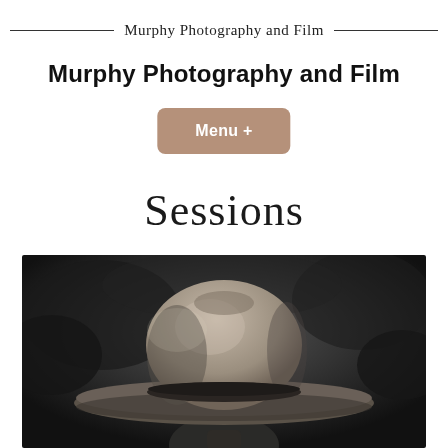Murphy Photography and Film
Murphy Photography and Film
Menu +
Sessions
[Figure (photo): Black and white photograph showing a person wearing a wide-brimmed felt cowboy hat, photographed from below showing the hat prominently against a dark blurred background.]